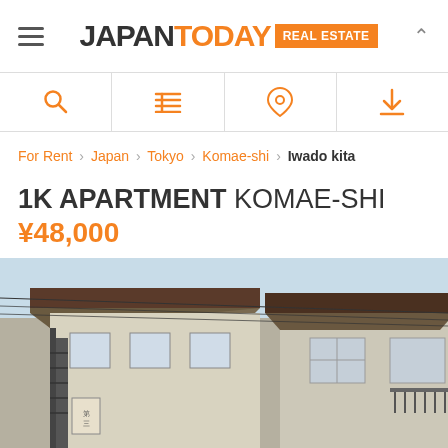JAPANTODAY REAL ESTATE
For Rent › Japan › Tokyo › Komae-shi › Iwado kita
1K APARTMENT KOMAE-SHI ¥48,000
[Figure (photo): Exterior photo of a two-story Japanese apartment building with overhanging eaves and staircase balcony, viewed from below against a light sky]